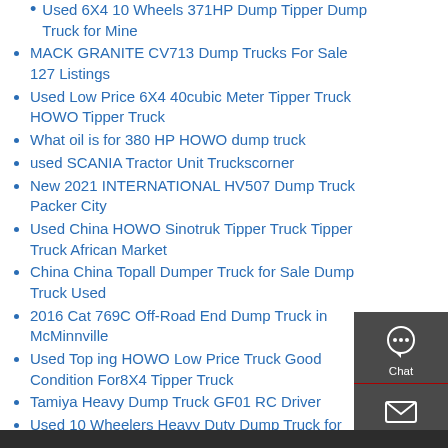Used 6X4 10 Wheels 371HP Dump Tipper Dump Truck for Mine
MACK GRANITE CV713 Dump Trucks For Sale 127 Listings
Used Low Price 6X4 40cubic Meter Tipper Truck HOWO Tipper Truck
What oil is for 380 HP HOWO dump truck
used SCANIA Tractor Unit Truckscorner
New 2021 INTERNATIONAL HV507 Dump Truck Packer City
Used China HOWO Sinotruk Tipper Truck Tipper Truck African Market
China China Topall Dumper Truck for Sale Dump Truck Used
2016 Cat 769C Off-Road End Dump Truck in McMinnville
Used Top ing HOWO Low Price Truck Good Condition For8X4 Tipper Truck
Tamiya Heavy Dump Truck GF01 RC Driver
Used 10 Wheelers Heavy Duty Dump Truck for sale
[Figure (infographic): Sidebar widget with Chat, Email, Contact, and Top navigation icons on a dark gray background with red dividers]